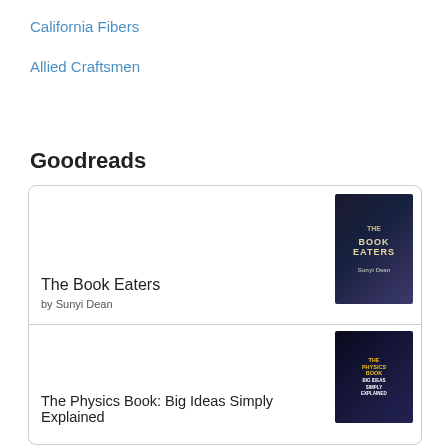California Fibers
Allied Craftsmen
Goodreads
[Figure (other): Goodreads widget showing two book entries: 'The Book Eaters' by Sunyi Dean with a dark book cover, and 'The Physics Book: Big Ideas Simply Explained' with a dark science-themed cover]
The Book Eaters
by Sunyi Dean
The Physics Book: Big Ideas Simply Explained